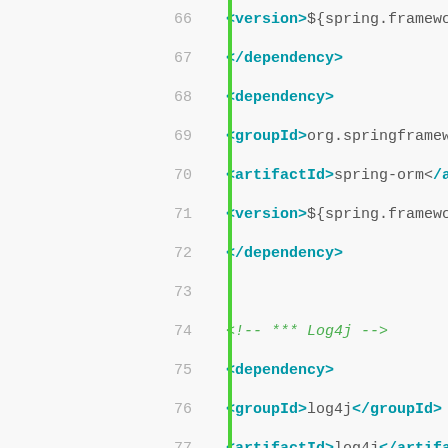[Figure (screenshot): XML/Maven POM code editor screenshot showing lines 66-91 with syntax highlighting. Tags in teal/bold, text content in dark gray, comments in green, line numbers in light gray. A green vertical bar separates line numbers from code content.]